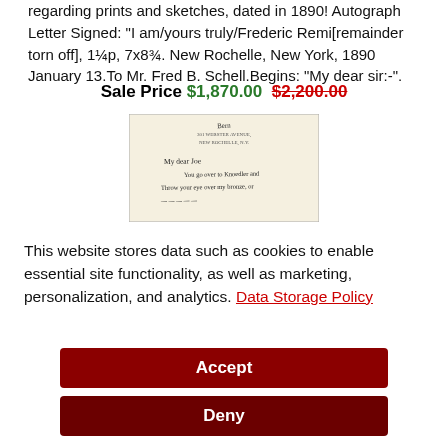regarding prints and sketches, dated in 1890! Autograph Letter Signed: "I am/yours truly/Frederic Remi[remainder torn off], 1¼p, 7x8¾. New Rochelle, New York, 1890 January 13.To Mr. Fred B. Schell.Begins: "My dear sir:-".
Sale Price $1,870.00  $2,200.00
[Figure (photo): A photograph of a handwritten letter on cream paper with printed letterhead reading '301 WEBSTER AVENUE, NEW ROCHELLE, N.Y.' The letter begins 'My dear Joe, You go over to Knoedler and throw your eye over my bronze, or...']
This website stores data such as cookies to enable essential site functionality, as well as marketing, personalization, and analytics. Data Storage Policy
Accept
Deny